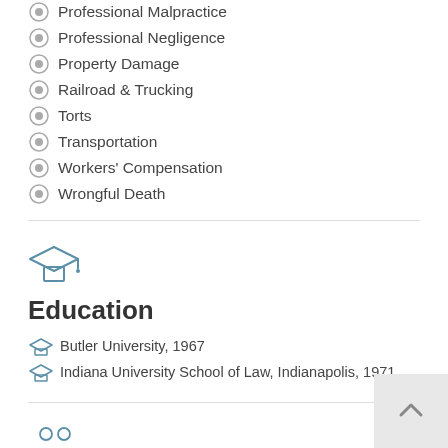Professional Malpractice
Professional Negligence
Property Damage
Railroad & Trucking
Torts
Transportation
Workers' Compensation
Wrongful Death
Education
Butler University, 1967
Indiana University School of Law, Indianapolis, 1971
Memberships & Affiliations